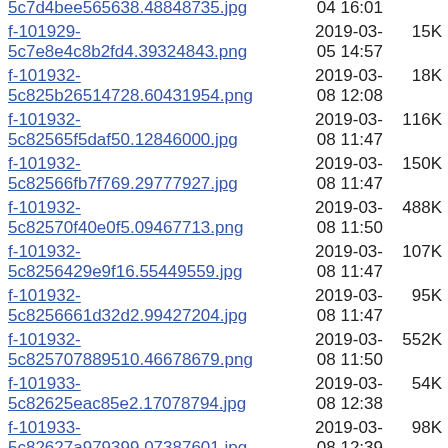5c7d4bee565638.48848735.jpg  04 16:01
f-101929-5c7e8e4c8b2fd4.39324843.png  2019-03-05 14:57  15K
f-101932-5c825b26514728.60431954.png  2019-03-08 12:08  18K
f-101932-5c82565f5daf50.12846000.jpg  2019-03-08 11:47  116K
f-101932-5c82566fb7f769.29777927.jpg  2019-03-08 11:47  150K
f-101932-5c82570f40e0f5.09467713.png  2019-03-08 11:50  488K
f-101932-5c8256429e9f16.55449559.jpg  2019-03-08 11:47  107K
f-101932-5c8256661d32d2.99427204.jpg  2019-03-08 11:47  95K
f-101932-5c825707889510.46678679.png  2019-03-08 11:50  552K
f-101933-5c82625eac85e2.17078794.jpg  2019-03-08 12:38  54K
f-101933-5c82627a979399.07387601.jpg  2019-03-08 12:39  98K
f-101933-5c826271b65d83.99145364.jpg  2019-03-08 12:39  68K